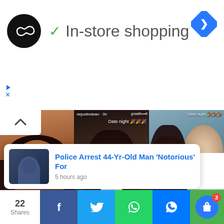[Figure (screenshot): Advertisement banner with circular black logo with infinity-like symbol, green checkmark, text 'In-store shopping', and blue diamond navigation icon on right]
[Figure (screenshot): Video content section showing three panel collage: left panel shows a woman with braids resting head on hand, center panel shows a woman in dark clothing with a play button overlay and 'Date night' label, right panel shows a couple outdoors with 'Date night' label. Collapse arrow button at top left. Close X button at bottom right.]
Police Arrest 44-Yr-Old Man 'Notorious' For
5 hours ago
Dean Goes [Video]
22
Shares